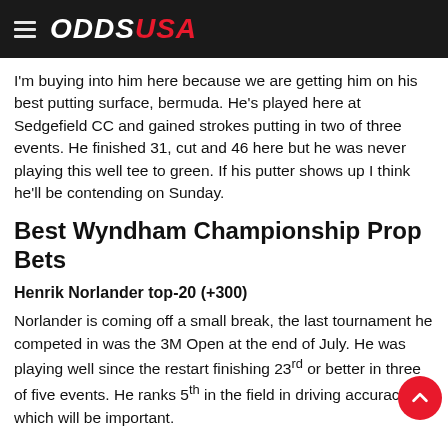ODDS USA
I'm buying into him here because we are getting him on his best putting surface, bermuda. He's played here at Sedgefield CC and gained strokes putting in two of three events. He finished 31, cut and 46 here but he was never playing this well tee to green. If his putter shows up I think he'll be contending on Sunday.
Best Wyndham Championship Prop Bets
Henrik Norlander top-20 (+300)
Norlander is coming off a small break, the last tournament he competed in was the 3M Open at the end of July. He was playing well since the restart finishing 23rd or better in three of five events. He ranks 5th in the field in driving accuracy which will be important.